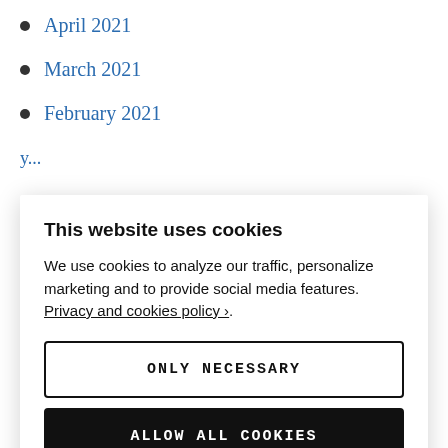April 2021
March 2021
February 2021
This website uses cookies
We use cookies to analyze our traffic, personalize marketing and to provide social media features. Privacy and cookies policy ›.
ONLY NECESSARY
ALLOW ALL COOKIES
CONFIGURE SETTINGS ›
February 2020
January 2020